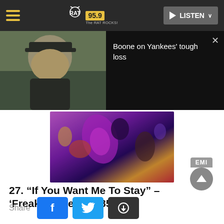RAT 95.9 The RAT ROCKS! — LISTEN
[Figure (screenshot): Video overlay: person in black cap on left, dark panel on right reading 'Boone on Yankees' tough loss' with close X button]
[Figure (photo): Colorful album art with figures in purple, black, yellow and red, EMI badge at lower right]
27. “If You Want Me To Stay” – ‘Freaky Styley’ (1985)
Share — Facebook, Twitter, Link buttons